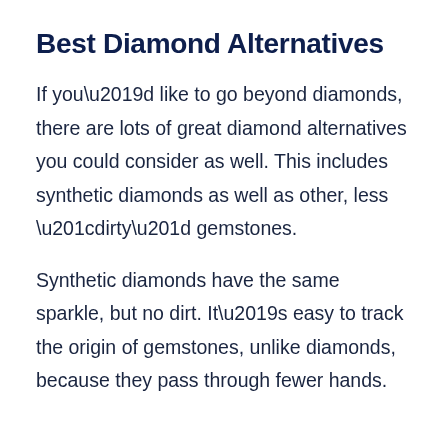Best Diamond Alternatives
If you’d like to go beyond diamonds, there are lots of great diamond alternatives you could consider as well. This includes synthetic diamonds as well as other, less “dirty” gemstones.
Synthetic diamonds have the same sparkle, but no dirt. It’s easy to track the origin of gemstones, unlike diamonds, because they pass through fewer hands.